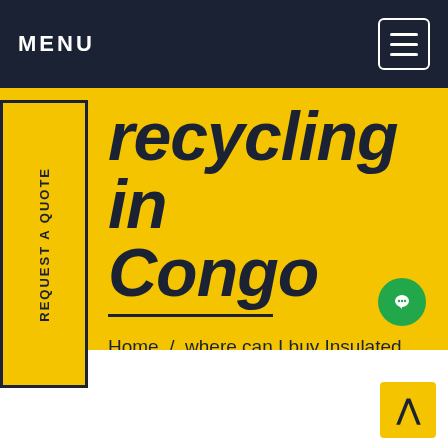MENU
recycling in Congo
Home / where can I buy Insulated gas recycling in Congo
REQUEST A QUOTE